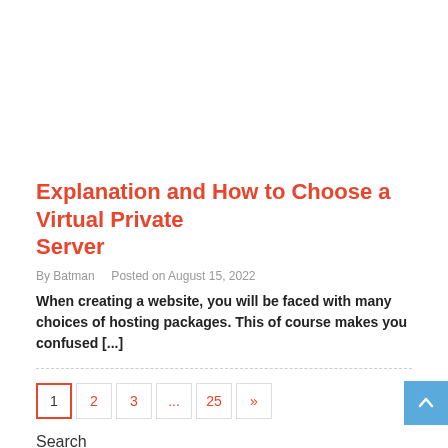Explanation and How to Choose a Virtual Private Server
By Batman   Posted on August 15, 2022
When creating a website, you will be faced with many choices of hosting packages. This of course makes you confused [...]
1 2 3 … 25 »
Search